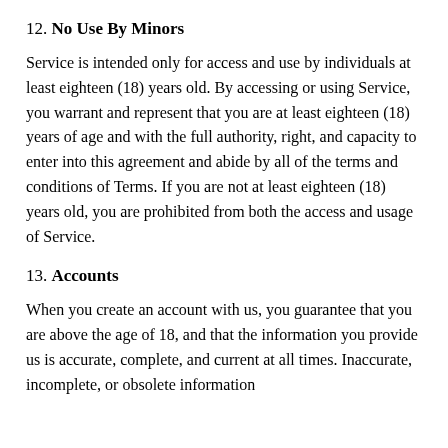12. No Use By Minors
Service is intended only for access and use by individuals at least eighteen (18) years old. By accessing or using Service, you warrant and represent that you are at least eighteen (18) years of age and with the full authority, right, and capacity to enter into this agreement and abide by all of the terms and conditions of Terms. If you are not at least eighteen (18) years old, you are prohibited from both the access and usage of Service.
13. Accounts
When you create an account with us, you guarantee that you are above the age of 18, and that the information you provide us is accurate, complete, and current at all times. Inaccurate, incomplete, or obsolete information